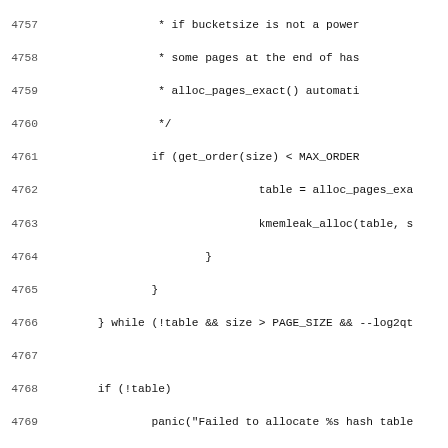[Figure (other): Source code listing (C language) showing lines 4757-4789 of a Linux kernel file, including hash table allocation logic, panic on failure, printk logging, hash shift/mask assignments, return statement, closing brace, and start of get_pageblock_bitmap function.]